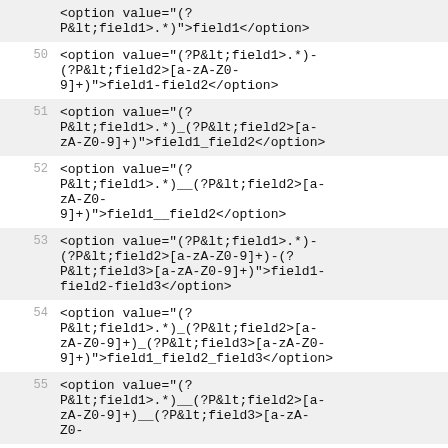<option value="(?P&lt;field1>.*)">>field1</option>
50  <option value="(?P&lt;field1>.*)-(?P&lt;field2>[a-zA-Z0-9]+)">field1-field2</option>
51  <option value="(?P&lt;field1>.*)_(?P&lt;field2>[a-zA-Z0-9]+)">field1_field2</option>
52  <option value="(?P&lt;field1>.*)__(?P&lt;field2>[a-zA-Z0-9]+)">field1__field2</option>
53  <option value="(?P&lt;field1>.*)-(?P&lt;field2>[a-zA-Z0-9]+)-(?P&lt;field3>[a-zA-Z0-9]+)">field1-field2-field3</option>
54  <option value="(?P&lt;field1>.*)_(?P&lt;field2>[a-zA-Z0-9]+)_(?P&lt;field3>[a-zA-Z0-9]+)">field1_field2_field3</option>
55  <option value="(?P&lt;field1>.*)__(?P&lt;field2>[a-zA-Z0-9]+)__(?P&lt;field3>[a-zA-Z0-